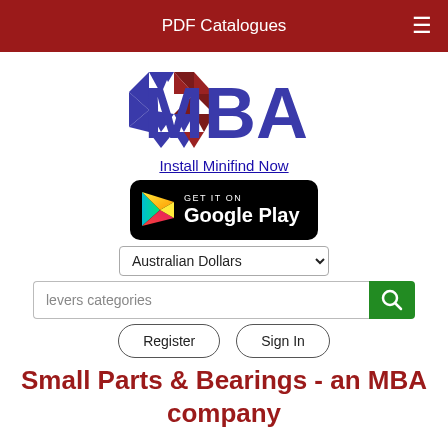PDF Catalogues
[Figure (logo): MBA logo with geometric diamond shape in blue and dark red, with large blue MBA text]
Install Minifind Now
[Figure (screenshot): GET IT ON Google Play button badge, black background with play triangle icon]
Australian Dollars
levers categories
Register  Sign In
Small Parts & Bearings - an MBA company